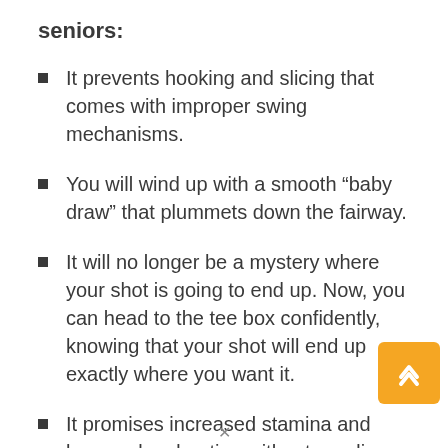seniors:
It prevents hooking and slicing that comes with improper swing mechanisms.
You will wind up with a smooth “baby draw” that plummets down the fairway.
It will no longer be a mystery where your shot is going to end up. Now, you can head to the tee box confidently, knowing that your shot will end up exactly where you want it.
It promises increased stamina and longer play duration without needing an